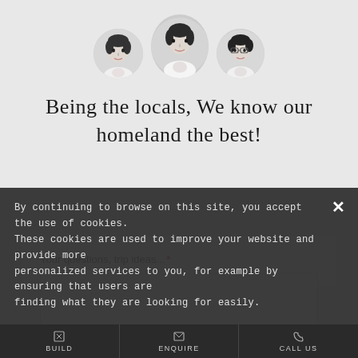[Figure (illustration): Three illustrated portrait avatars (black and white) of three women arranged side by side]
Being the locals, We know our homeland the best!
Your questions, trip ideas...*
By continuing to browse on this site, you accept the use of cookies. These cookies are used to improve your website and provide more personalized services to you, for example by ensuring that users are finding what they are looking for easily.
BUILD  ENQUIRE  CALL US